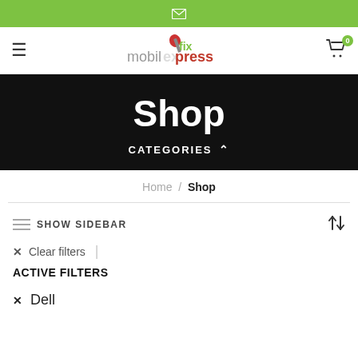Email icon top bar
[Figure (logo): MobilExpressFix logo with screwdriver icon]
Shop
CATEGORIES
Home / Shop
SHOW SIDEBAR
× Clear filters
ACTIVE FILTERS
× Dell